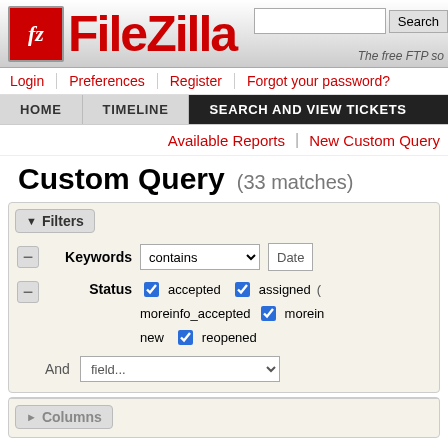[Figure (logo): FileZilla logo with red FZ icon and red text, search bar and Search button]
Login | Preferences | Register | Forgot your password?
HOME | TIMELINE | SEARCH AND VIEW TICKETS
Available Reports | New Custom Query
Custom Query (33 matches)
▼ Filters
Keywords contains Date
Status: accepted (checked), assigned (checked), moreinfo_accepted, morein... (checked), new, reopened (checked)
And field...
► Columns